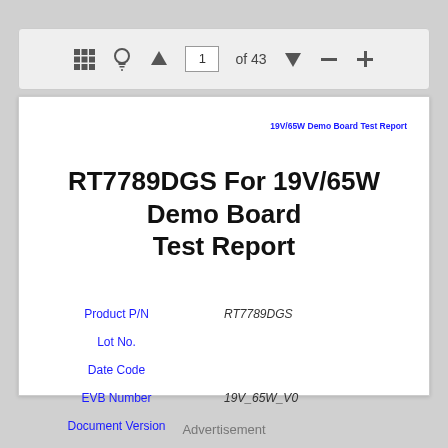19V/65W Demo Board Test Report
RT7789DGS For 19V/65W Demo Board Test Report
Product P/N    RT7789DGS
Lot No.
Date Code
EVB Number    19V_65W_V0
Document Version
Advertisement